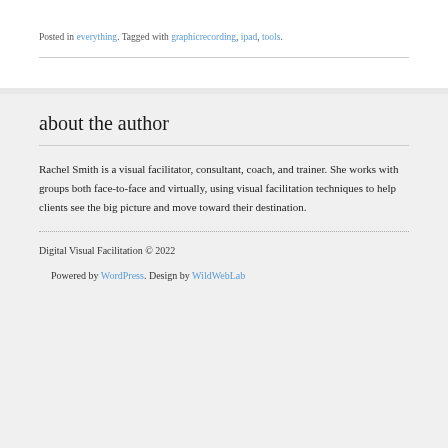Posted in everything. Tagged with graphicrecording, ipad, tools.
about the author
Rachel Smith is a visual facilitator, consultant, coach, and trainer. She works with groups both face-to-face and virtually, using visual facilitation techniques to help clients see the big picture and move toward their destination.
Digital Visual Facilitation © 2022
Powered by WordPress. Design by WildWebLab